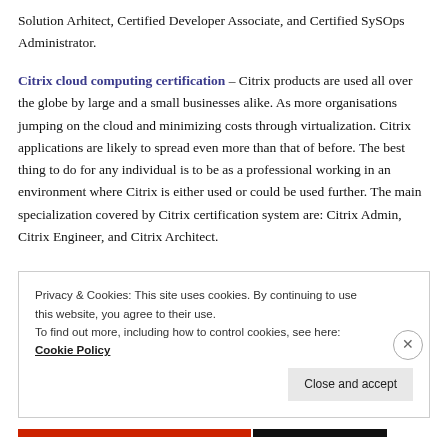Solution Arhitect, Certified Developer Associate, and Certified SySOps Administrator.
Citrix cloud computing certification – Citrix products are used all over the globe by large and a small businesses alike. As more organisations jumping on the cloud and minimizing costs through virtualization. Citrix applications are likely to spread even more than that of before. The best thing to do for any individual is to be as a professional working in an environment where Citrix is either used or could be used further. The main specialization covered by Citrix certification system are: Citrix Admin, Citrix Engineer, and Citrix Architect.
Privacy & Cookies: This site uses cookies. By continuing to use this website, you agree to their use.
To find out more, including how to control cookies, see here: Cookie Policy
Close and accept